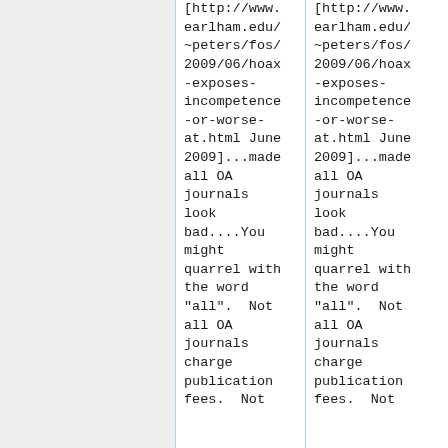[http://www.earlham.edu/~peters/fos/2009/06/hoax-exposes-incompetence-or-worse-at.html June 2009]...made all OA journals look bad....You might quarrel with the word "all".  Not all OA journals charge publication fees.  Not
[http://www.earlham.edu/~peters/fos/2009/06/hoax-exposes-incompetence-or-worse-at.html June 2009]...made all OA journals look bad....You might quarrel with the word "all".  Not all OA journals charge publication fees.  Not